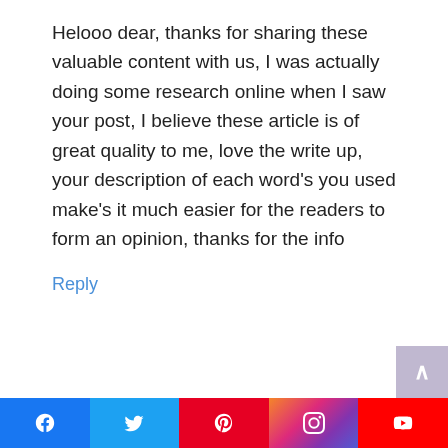Helooo dear, thanks for sharing these valuable content with us, I was actually doing some research online when I saw your post, I believe these article is of great quality to me, love the write up, your description of each word's you used make's it much easier for the readers to form an opinion, thanks for the info
Reply
[Figure (infographic): Social media share bar with icons for Facebook, Twitter, Pinterest, Instagram, and YouTube]